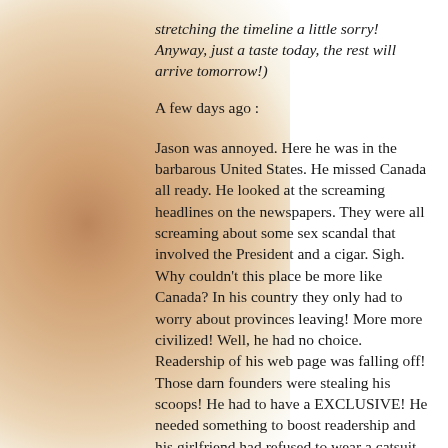stretching the timeline a little sorry! Anyway, just a taste today, the rest will arrive tomorrow!)
A few days ago :
Jason was annoyed. Here he was in the barbarous United States. He missed Canada all ready. He looked at the screaming headlines on the newspapers. They were all screaming about some sex scandal that involved the President and a cigar. Sigh. Why couldn't this place be more like Canada? In his country they only had to worry about provinces leaving! More more civilized! Well, he had no choice. Readership of his web page was falling off! Those darn founders were stealing his scoops! He had to have a EXCLUSIVE! He needed something to boost readership and his girlfriend had refused to wear a catsuit.
He walked out of the airport thinking dark thoughts. Great it was raining. Where was a cab? Ah! He ran over to the cab and climbed in. "Where to pal?" asked the